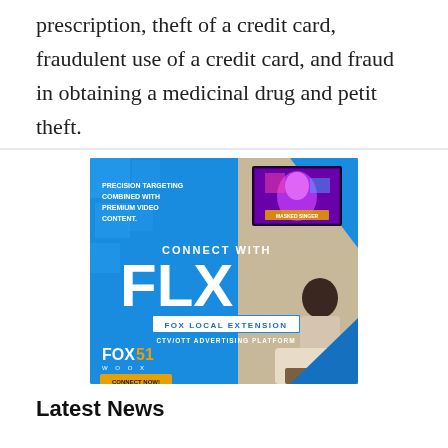prescription, theft of a credit card, fraudulent use of a credit card, and fraud in obtaining a medicinal drug and petit theft.
[Figure (illustration): Advertisement for FOX Local Extension (FLX) - a CTV/OTT advertising platform by FOX 51 WOOX. Blue background with large white 'FLX' text, tagline 'PRECISION TARGETING COMBINED WITH PREMIUM VIDEO CONTENT.', 'CONNECT WITH FLX', 'FOX LOCAL EXTENSION', 'CTV/OTT ADVERTISING PLATFORM', 'FOX 51 WOOX', and a yellow 'CONNECT NOW!' button. Shows a person watching TV displaying 'Masked Singer'.]
Latest News